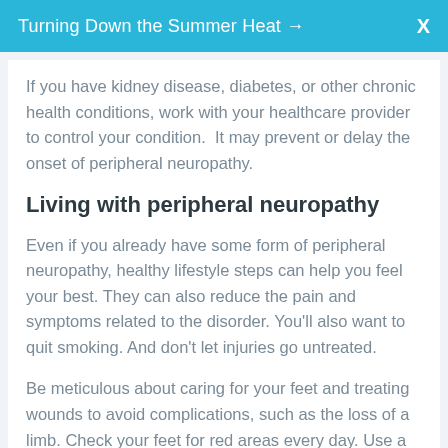Turning Down the Summer Heat → X
If you have kidney disease, diabetes, or other chronic health conditions, work with your healthcare provider to control your condition. It may prevent or delay the onset of peripheral neuropathy.
Living with peripheral neuropathy
Even if you already have some form of peripheral neuropathy, healthy lifestyle steps can help you feel your best. They can also reduce the pain and symptoms related to the disorder. You'll also want to quit smoking. And don't let injuries go untreated.
Be meticulous about caring for your feet and treating wounds to avoid complications, such as the loss of a limb. Check your feet for red areas every day. Use a mirror to check between your toes and the bottoms of